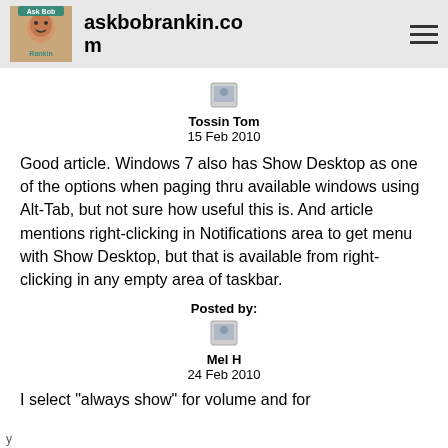askbobrankin.com
Tossin Tom
15 Feb 2010
Good article. Windows 7 also has Show Desktop as one of the options when paging thru available windows using Alt-Tab, but not sure how useful this is. And article mentions right-clicking in Notifications area to get menu with Show Desktop, but that is available from right-clicking in any empty area of taskbar.
Posted by:
Mel H
24 Feb 2010
I select "always show" for volume and for